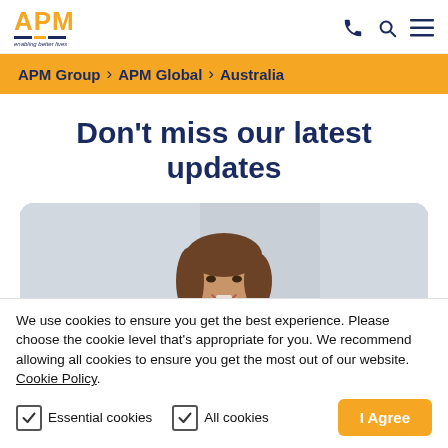APM — enabling better lives
APM Group > APM Global > Australia
Don't miss our latest updates
[Figure (photo): Smiling woman with brown hair wearing a dark top, photographed against a light grey background.]
We use cookies to ensure you get the best experience. Please choose the cookie level that's appropriate for you. We recommend allowing all cookies to ensure you get the most out of our website. Cookie Policy.
Essential cookies  All cookies  I Agree